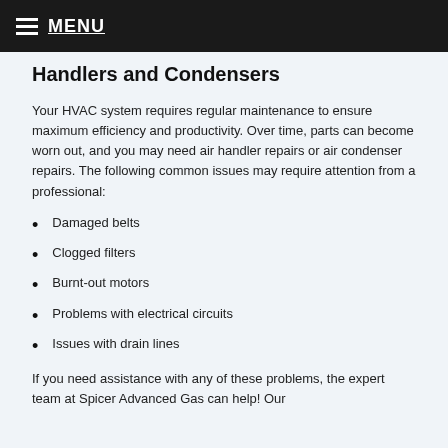MENU
Handlers and Condensers
Your HVAC system requires regular maintenance to ensure maximum efficiency and productivity. Over time, parts can become worn out, and you may need air handler repairs or air condenser repairs. The following common issues may require attention from a professional:
Damaged belts
Clogged filters
Burnt-out motors
Problems with electrical circuits
Issues with drain lines
If you need assistance with any of these problems, the expert team at Spicer Advanced Gas can help! Our